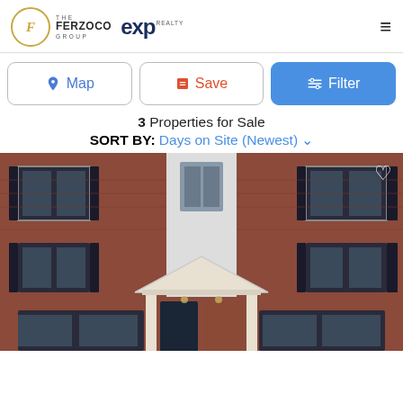The Ferzoco Group | eXp Realty
Map | Save | Filter
3 Properties for Sale
SORT BY: Days on Site (Newest)
[Figure (photo): Exterior photo of a brick multi-unit residential building with dark shutters, white siding column, and a white pediment entry portico with columns and two front doors.]